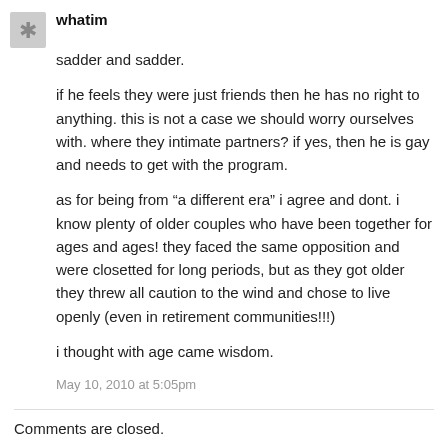whatim
sadder and sadder.
if he feels they were just friends then he has no right to anything. this is not a case we should worry ourselves with. where they intimate partners? if yes, then he is gay and needs to get with the program.
as for being from “a different era” i agree and dont. i know plenty of older couples who have been together for ages and ages! they faced the same opposition and were closetted for long periods, but as they got older they threw all caution to the wind and chose to live openly (even in retirement communities!!!)
i thought with age came wisdom.
May 10, 2010 at 5:05pm
Comments are closed.